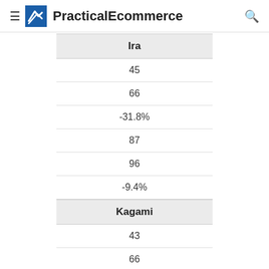PracticalEcommerce
| Ira |
| --- |
| 45 |
| 66 |
| -31.8% |
| 87 |
| 96 |
| -9.4% |
| Kagami |
| --- |
| 43 |
| 66 |
| -34.8% |